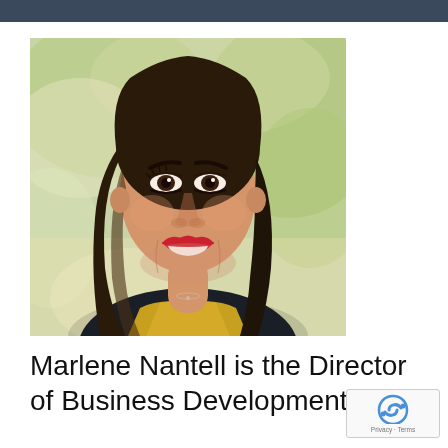[Figure (photo): Professional headshot of Marlene Nantell, a woman with long brown hair, smiling, wearing a dark blazer over a yellow top, with a blurred green outdoor background.]
Marlene Nantell is the Director of Business Development and